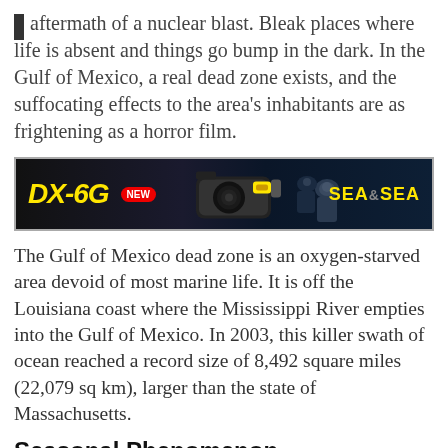aftermath of a nuclear blast. Bleak places where life is absent and things go bump in the dark. In the Gulf of Mexico, a real dead zone exists, and the suffocating effects to the area's inhabitants are as frightening as a horror film.
[Figure (photo): Advertisement banner for Sea&Sea DX-6G camera with NEW badge, camera image, and divers in dark water background]
The Gulf of Mexico dead zone is an oxygen-starved area devoid of most marine life. It is off the Louisiana coast where the Mississippi River empties into the Gulf of Mexico. In 2003, this killer swath of ocean reached a record size of 8,492 square miles (22,079 sq km), larger than the state of Massachusetts.
Seasonal Phenomenon